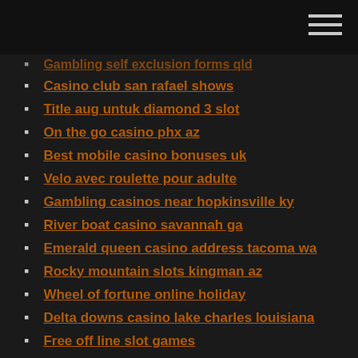Gambling self exclusion forms qld
Casino club san rafael shows
Title aug untuk diamond 3 slot
On the go casino phx az
Best mobile casino bonuses uk
Velo avec roulette pour adulte
Gambling casinos near hopkinsville ky
River boat casino savannah ga
Emerald queen casino address tacoma wa
Rocky mountain slots kingman az
Wheel of fortune online holiday
Delta downs casino lake charles louisiana
Free off line slot games
Ways to increase casino revenue